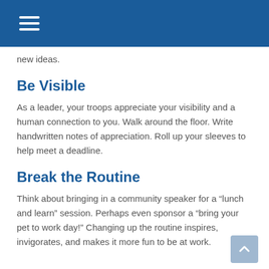new ideas.
Be Visible
As a leader, your troops appreciate your visibility and a human connection to you. Walk around the floor. Write handwritten notes of appreciation. Roll up your sleeves to help meet a deadline.
Break the Routine
Think about bringing in a community speaker for a “lunch and learn” session. Perhaps even sponsor a “bring your pet to work day!” Changing up the routine inspires, invigorates, and makes it more fun to be at work.